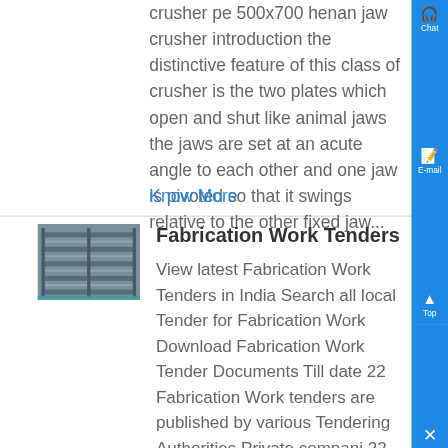crusher pe 500x700 henan jaw crusher introduction the distinctive feature of this class of crusher is the two plates which open and shut like animal jaws the jaws are set at an acute angle to each other and one jaw is pivoted so that it swings relative to the other fixed jaw...
Know More
[Figure (photo): Industrial fabrication shelving or rack structure, metal frames stacked in rows]
Fabrication Work Tenders
View latest Fabrication Work Tenders in India Search all local Tender for Fabrication Work Download Fabrication Work Tender Documents Till date 22 Fabrication Work tenders are published by various Tendering Authorities Private compani 22 live Tender Notices for